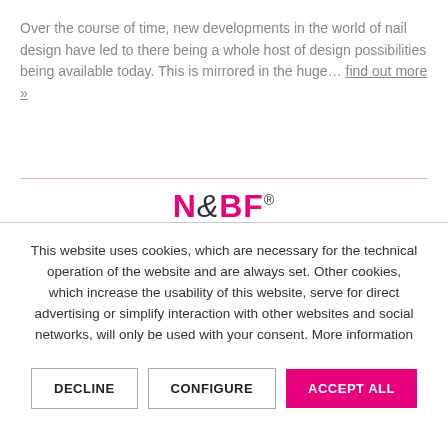Over the course of time, new developments in the world of nail design have led to there being a whole host of design possibilities being available today. This is mirrored in the huge… find out more »
[Figure (logo): N&BF brand logo in pink and dark text with registered trademark symbol]
[Figure (photo): Two circular trust/certification badge icons partially visible at bottom of top section]
This website uses cookies, which are necessary for the technical operation of the website and are always set. Other cookies, which increase the usability of this website, serve for direct advertising or simplify interaction with other websites and social networks, will only be used with your consent. More information